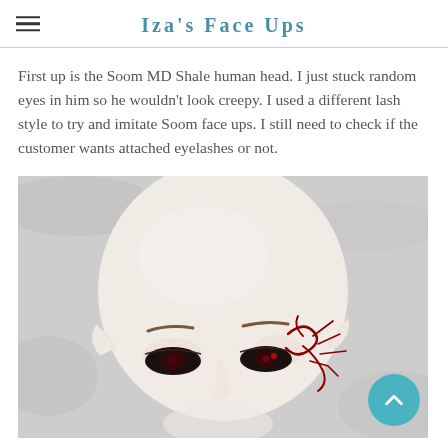Iza's Face Ups
First up is the Soom MD Shale human head. I just stuck random eyes in him so he wouldn't look creepy. I used a different lash style to try and imitate Soom face ups. I still need to check if the customer wants attached eyelashes or not.
[Figure (photo): Close-up photo of a ball-jointed doll (BJD) face. The doll has a pale white/cream complexion, painted brown eyebrows, dark eyes with a reddish iris hint, pointed elf ears, and dark red decorative markings/tattoos on the right side of the face near the eye. The face is tilted slightly and resting on a white/grey fabric background.]